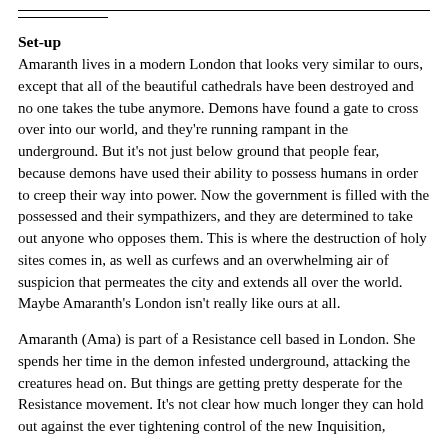Set-up
Amaranth lives in a modern London that looks very similar to ours, except that all of the beautiful cathedrals have been destroyed and no one takes the tube anymore. Demons have found a gate to cross over into our world, and they're running rampant in the underground. But it's not just below ground that people fear, because demons have used their ability to possess humans in order to creep their way into power. Now the government is filled with the possessed and their sympathizers, and they are determined to take out anyone who opposes them. This is where the destruction of holy sites comes in, as well as curfews and an overwhelming air of suspicion that permeates the city and extends all over the world. Maybe Amaranth's London isn't really like ours at all.
Amaranth (Ama) is part of a Resistance cell based in London. She spends her time in the demon infested underground, attacking the creatures head on. But things are getting pretty desperate for the Resistance movement. It's not clear how much longer they can hold out against the ever tightening control of the new Inquisition,